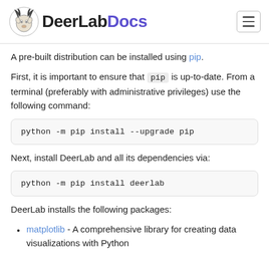DeerLabDocs
A pre-built distribution can be installed using pip.
First, it is important to ensure that pip is up-to-date. From a terminal (preferably with administrative privileges) use the following command:
python -m pip install --upgrade pip
Next, install DeerLab and all its dependencies via:
python -m pip install deerlab
DeerLab installs the following packages:
matplotlib - A comprehensive library for creating data visualizations with Python